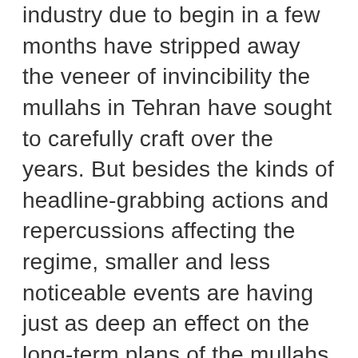industry due to begin in a few months have stripped away the veneer of invincibility the mullahs in Tehran have sought to carefully craft over the years. But besides the kinds of headline-grabbing actions and repercussions affecting the regime, smaller and less noticeable events are having just as deep an effect on the long-term plans of the mullahs. One of those smaller, but significant acts was the decision by social media companies such as Twitter and Facebook to eliminate false front profiles being used in support of Iranian regime messaging. Much of the heavy lifting and research on the regime's cyber activities came from the U.S.-based cybersecurity firm FireEye, which identified a network of social media accounts being fed postings and key messages from Iranian-controlled accounts